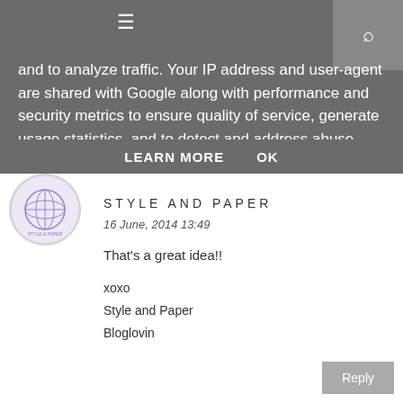and to analyze traffic. Your IP address and user-agent are shared with Google along with performance and security metrics to ensure quality of service, generate usage statistics, and to detect and address abuse.
LEARN MORE    OK
STYLE AND PAPER
16 June, 2014 13:49
That's a great idea!!
xoxo
Style and Paper
Bloglovin
Reply